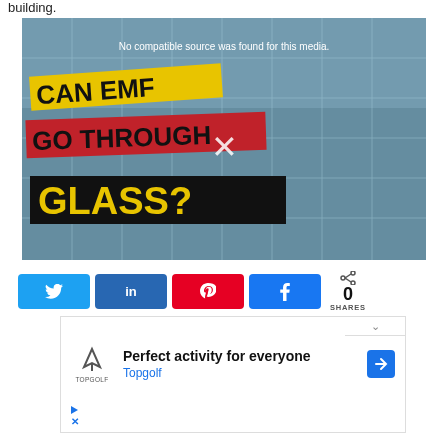building.
[Figure (screenshot): Video thumbnail showing text overlays: 'CAN EMF GO THROUGH GLASS?' on a glass building background. An X symbol indicates media not available. Message: 'No compatible source was found for this media.']
[Figure (infographic): Social share buttons: Twitter (blue), LinkedIn (dark blue), Pinterest (red), Facebook (blue), and a share count showing 0 SHARES]
[Figure (screenshot): Advertisement for Topgolf: 'Perfect activity for everyone' with Topgolf logo and navigation icon]